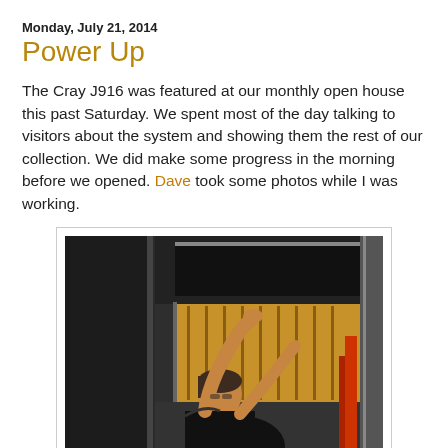Monday, July 21, 2014
Power Up
The Cray J916 was featured at our monthly open house this past Saturday. We spent most of the day talking to visitors about the system and showing them the rest of our collection. We did make some progress in the morning before we opened. Dave took some photos while I was working.
[Figure (photo): A person working on a Cray J916 supercomputer, reaching up toward circuit boards with vertical brown/gold card guides, dark metal cabinet panels visible on the left, taken indoors in low light.]